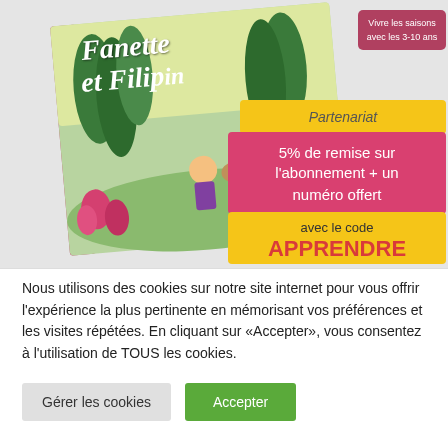[Figure (illustration): Advertisement for 'Fanette et Filipin' children's magazine showing a book cover with illustrated characters in a forest scene, overlaid with promotional banners: 'Partenariat', '5% de remise sur l'abonnement + un numéro offert', and 'avec le code APPRENDRE']
Nous utilisons des cookies sur notre site internet pour vous offrir l'expérience la plus pertinente en mémorisant vos préférences et les visites répétées. En cliquant sur «Accepter», vous consentez à l'utilisation de TOUS les cookies.